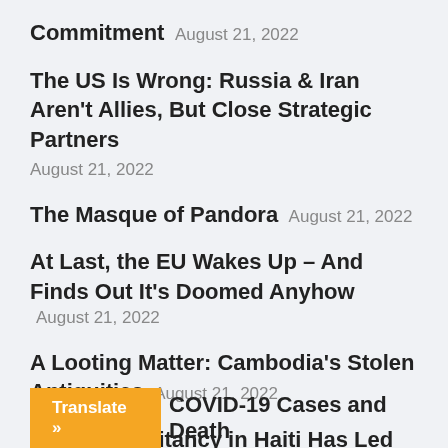Commitment August 21, 2022
The US Is Wrong: Russia & Iran Aren't Allies, But Close Strategic Partners August 21, 2022
The Masque of Pandora August 21, 2022
At Last, the EU Wakes Up – And Finds Out It's Doomed Anyhow August 21, 2022
A Looting Matter: Cambodia's Stolen Antiquities August 21, 2022
Vaccine Hesitancy in Haiti Has Led to COVID-19 Cases and Death